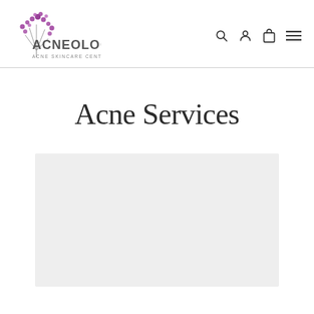ACNEOLOGY ACNE SKINCARE CENTER
Acne Services
[Figure (other): Light gray rectangular placeholder image area below the Acne Services heading]